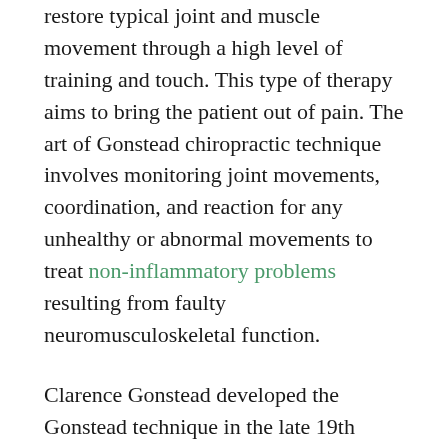restore typical joint and muscle movement through a high level of training and touch. This type of therapy aims to bring the patient out of pain. The art of Gonstead chiropractic technique involves monitoring joint movements, coordination, and reaction for any unhealthy or abnormal movements to treat non-inflammatory problems resulting from faulty neuromusculoskeletal function.
Clarence Gonstead developed the Gonstead technique in the late 19th century. Gonstead did not originally intend for this therapy to be used as a chiropractic technique, but rather as an alternative to surgery and medication. Gonstead was designed to help people suffering from back pain and exhibited symptoms such as numbness, tingling sensations, or weakness in extremities due to spinal stenosis, scoliosis, or a herniated disc.